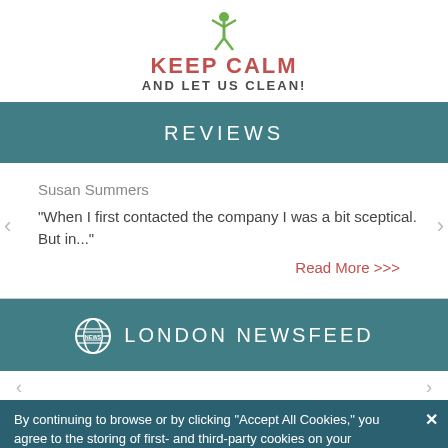[Figure (logo): Keep Calm and Let Us Clean logo with green figure and red/grey text]
REVIEWS
Susan Summers
"When I first contacted the company I was a bit sceptical. But in..."
Read More >>>
LONDON NEWSFEED
By continuing to browse or by clicking “Accept All Cookies,” you agree to the storing of first- and third-party cookies on your